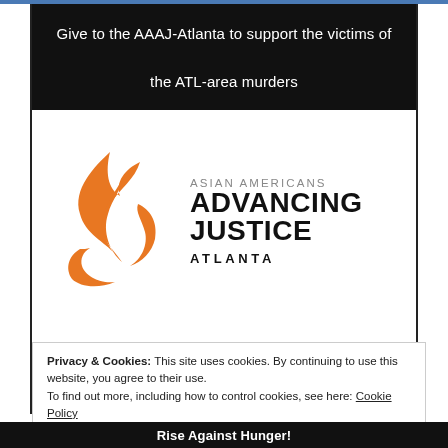Give to the AAAJ-Atlanta to support the victims of the ATL-area murders
[Figure (logo): Asian Americans Advancing Justice Atlanta logo — orange flame/wing graphic on left, organization name text on right: 'ASIAN AMERICANS' in gray, 'ADVANCING JUSTICE' in large bold black, 'ATLANTA' in bold black spaced capitals]
Privacy & Cookies: This site uses cookies. By continuing to use this website, you agree to their use.
To find out more, including how to control cookies, see here: Cookie Policy
Close and accept
Rise Against Hunger!